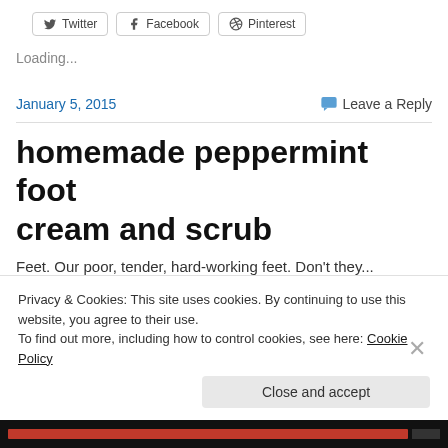[Figure (other): Share buttons for Twitter, Facebook, Pinterest]
Loading...
January 5, 2015
Leave a Reply
homemade peppermint foot cream and scrub
Feet. Our poor, tender, hard-working feet. Don't they...
Privacy & Cookies: This site uses cookies. By continuing to use this website, you agree to their use.
To find out more, including how to control cookies, see here: Cookie Policy
Close and accept